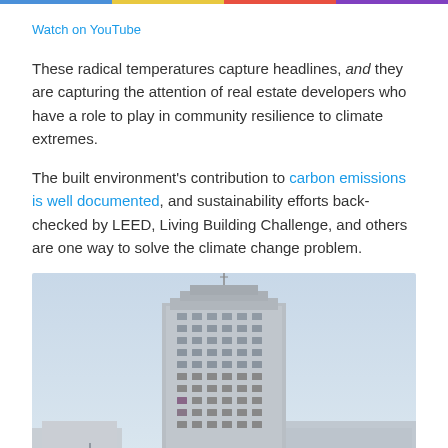Watch on YouTube
These radical temperatures capture headlines, and they are capturing the attention of real estate developers who have a role to play in community resilience to climate extremes.
The built environment's contribution to carbon emissions is well documented, and sustainability efforts back-checked by LEED, Living Building Challenge, and others are one way to solve the climate change problem.
[Figure (photo): A tall multi-story office building photographed in winter/cold weather against a light blue-grey sky, with snow visible at the base. Lower adjoining structures visible on the right side.]